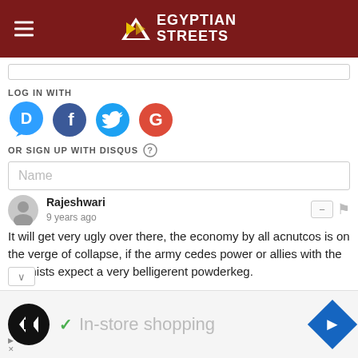Egyptian Streets
LOG IN WITH
[Figure (screenshot): Four social login buttons: Disqus (blue), Facebook (dark blue), Twitter (light blue), Google (red)]
OR SIGN UP WITH DISQUS (?)
Name
Rajeshwari
9 years ago
It will get very ugly over there, the economy by all acnutcos is on the verge of collapse, if the army cedes power or allies with the Islamists expect a very belligerent powderkeg.
[Figure (screenshot): Advertisement banner: dark logo with arrows icon, checkmark, 'In-store shopping' text, blue diamond arrow icon, ad label]